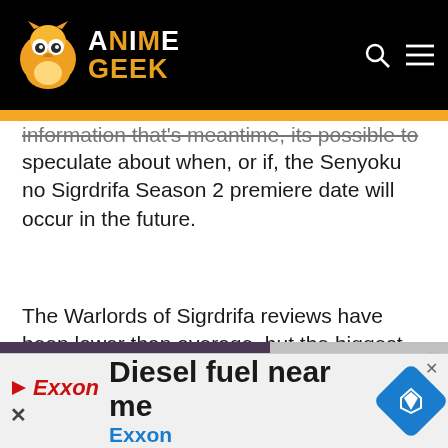Anime Geek
information that's meantime, its possible to speculate about when, or if, the Senyoku no Sigrdrifa Season 2 premiere date will occur in the future.
The Warlords of Sigrdrifa reviews have been lower than average, but the biggest factor
[Figure (screenshot): Video player overlay showing error message: The media could not be loaded, either because the server or network failed or because the format is not supported. Video title: Howl's Moving Castle (Studio Ghibli Fest 2022 Fathom Events Trailer)]
contained story.
[Figure (screenshot): Advertisement banner: Diesel fuel near me - Exxon]